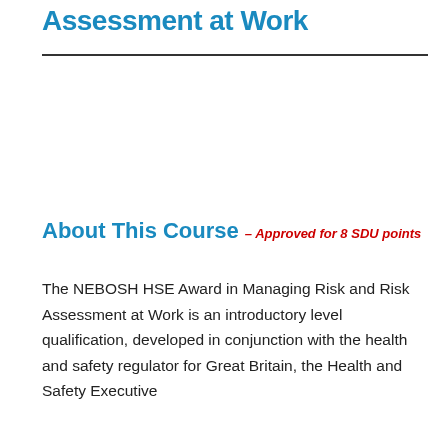Assessment at Work
About This Course – Approved for 8 SDU points
The NEBOSH HSE Award in Managing Risk and Risk Assessment at Work is an introductory level qualification, developed in conjunction with the health and safety regulator for Great Britain, the Health and Safety Executive